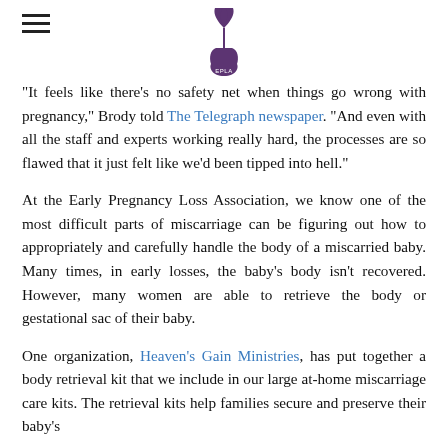[EPLA logo with hamburger menu]
"It feels like there's no safety net when things go wrong with pregnancy," Brody told The Telegraph newspaper. "And even with all the staff and experts working really hard, the processes are so flawed that it just felt like we'd been tipped into hell."
At the Early Pregnancy Loss Association, we know one of the most difficult parts of miscarriage can be figuring out how to appropriately and carefully handle the body of a miscarried baby. Many times, in early losses, the baby's body isn't recovered. However, many women are able to retrieve the body or gestational sac of their baby.
One organization, Heaven's Gain Ministries, has put together a body retrieval kit that we include in our large at-home miscarriage care kits. The retrieval kits help families secure and preserve their baby's